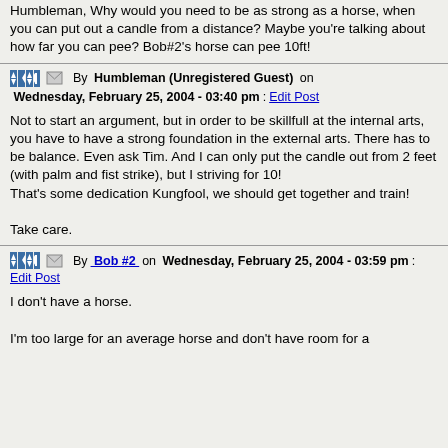Humbleman, Why would you need to be as strong as a horse, when you can put out a candle from a distance? Maybe you're talking about how far you can pee? Bob#2's horse can pee 10ft!
By Humbleman (Unregistered Guest) on Wednesday, February 25, 2004 - 03:40 pm: Edit Post
Not to start an argument, but in order to be skillfull at the internal arts, you have to have a strong foundation in the external arts. There has to be balance. Even ask Tim. And I can only put the candle out from 2 feet (with palm and fist strike), but I striving for 10!
That's some dedication Kungfool, we should get together and train!

Take care.
By Bob #2 on Wednesday, February 25, 2004 - 03:59 pm: Edit Post
I don't have a horse.
I'm too large for an average horse and don't have room for a